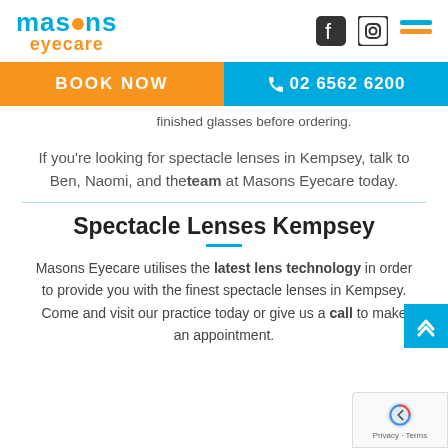masons eyecare
[Figure (logo): Masons Eyecare logo with Facebook and Instagram social icons and hamburger menu]
[Figure (infographic): Navigation bar with orange BOOK NOW button and blue phone number 02 6562 6200]
finished glasses before ordering.
If you're looking for spectacle lenses in Kempsey, talk to Ben, Naomi, and the team at Masons Eyecare today.
Spectacle Lenses Kempsey
Masons Eyecare utilises the latest lens technology in order to provide you with the finest spectacle lenses in Kempsey. Come and visit our practice today or give us a call to make an appointment.